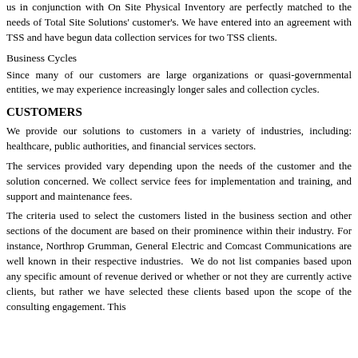us in conjunction with On Site Physical Inventory are perfectly matched to the needs of Total Site Solutions' customer's. We have entered into an agreement with TSS and have begun data collection services for two TSS clients.
Business Cycles
Since many of our customers are large organizations or quasi-governmental entities, we may experience increasingly longer sales and collection cycles.
CUSTOMERS
We provide our solutions to customers in a variety of industries, including: healthcare, public authorities, and financial services sectors.
The services provided vary depending upon the needs of the customer and the solution concerned. We collect service fees for implementation and training, and support and maintenance fees.
The criteria used to select the customers listed in the business section and other sections of the document are based on their prominence within their industry. For instance, Northrop Grumman, General Electric and Comcast Communications are well known in their respective industries. We do not list companies based upon any specific amount of revenue derived or whether or not they are currently active clients, but rather we have selected these clients based upon the scope of the consulting engagement. This